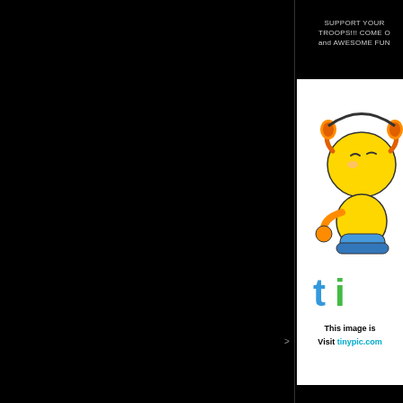SUPPORT YOUR TROOPS!!! COME O and AWESOME FUN
[Figure (illustration): Tinypic.com placeholder image showing a yellow cartoon mascot character with headphones sitting on a blue element, with colorful 'ti' text logo below. Text reads 'This image is' and 'Visit tinypic.com']